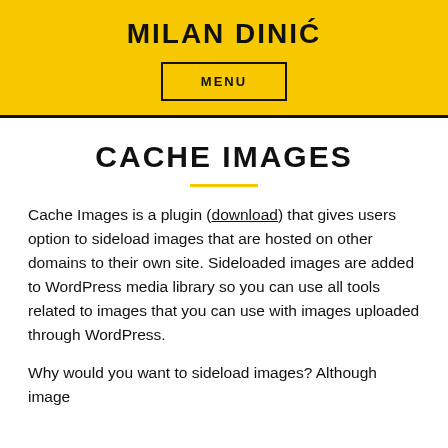MILAN DINIĆ
MENU
CACHE IMAGES
Cache Images is a plugin (download) that gives users option to sideload images that are hosted on other domains to their own site. Sideloaded images are added to WordPress media library so you can use all tools related to images that you can use with images uploaded through WordPress.
Why would you want to sideload images? Although image hosting on your own server has its own side effects (like the need for extra disk space), there are also many reasons why you might want to do it.